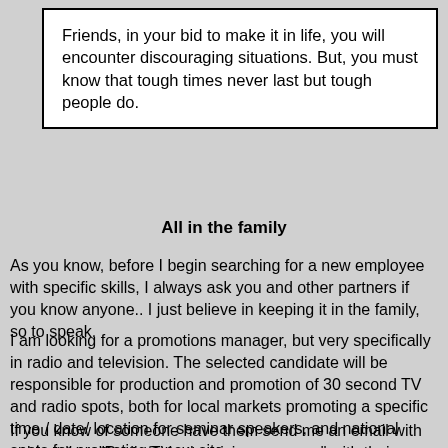Friends, in your bid to make it in life, you will encounter discouraging situations. But, you must know that tough times never last but tough people do.
All in the family
As you know, before I begin searching for a new employee with specific skills, I always ask you and other partners if you know anyone.. I just believe in keeping it in the family, so to speak.
I am looking for a promotions manager, but very specifically in radio and television. The selected candidate will be responsible for production and promotion of 30 second TV and radio spots, both for local markets promoting a specific time / date/ location for seminar speakers, and national spots for promoting a new site.
If you know of someone have them send me an email with subject line, "Radio/TV advertising manager" with their